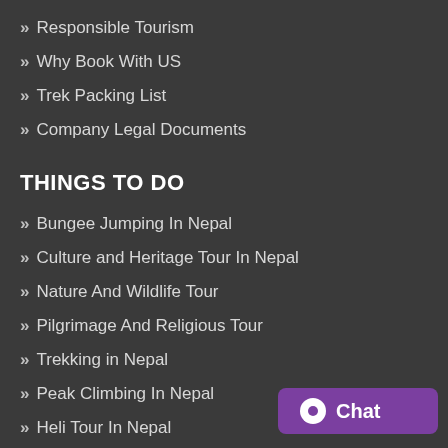Responsible Tourism
Why Book With US
Trek Packing List
Company Legal Documents
THINGS TO DO
Bungee Jumping In Nepal
Culture and Heritage Tour In Nepal
Nature And Wildlife Tour
Pilgrimage And Religious Tour
Trekking in Nepal
Peak Climbing In Nepal
Heli Tour In Nepal